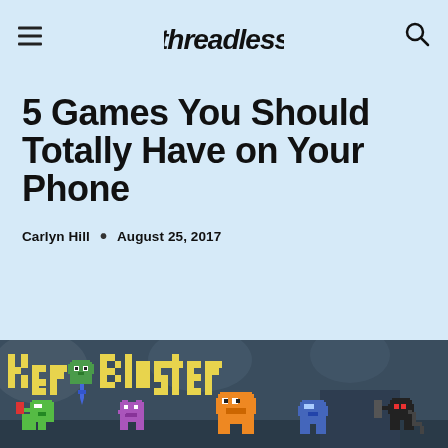Threadless
5 Games You Should Totally Have on Your Phone
Carlyn Hill • August 25, 2017
[Figure (screenshot): Screenshot of Kero Blaster game showing pixel art characters including green frog, purple cat, orange character, blue character, and a black ninja figure on a dark blue background with the text 'Kero Blaster' in yellow pixel font]